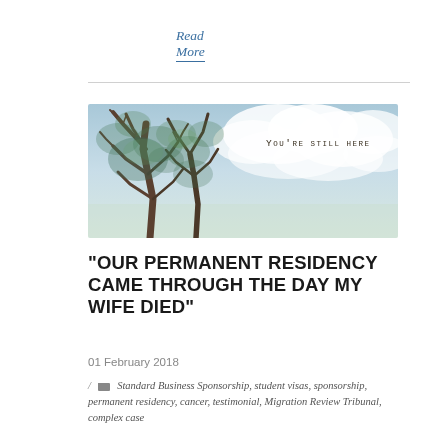Read More
[Figure (illustration): Artistic illustration of bare trees with teal/green foliage against a soft blue and white cloudy sky, with the text 'You're still here' in the upper right area]
“OUR PERMANENT RESIDENCY CAME THROUGH THE DAY MY WIFE DIED”
01 February 2018
/ Standard Business Sponsorship, student visas, sponsorship, permanent residency, cancer, testimonial, Migration Review Tribunal, complex case